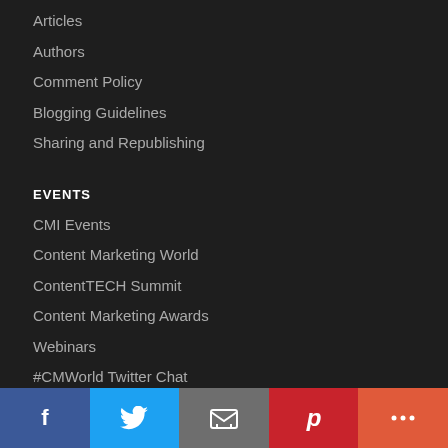Articles
Authors
Comment Policy
Blogging Guidelines
Sharing and Republishing
EVENTS
CMI Events
Content Marketing World
ContentTECH Summit
Content Marketing Awards
Webinars
#CMWorld Twitter Chat
EDUCATION